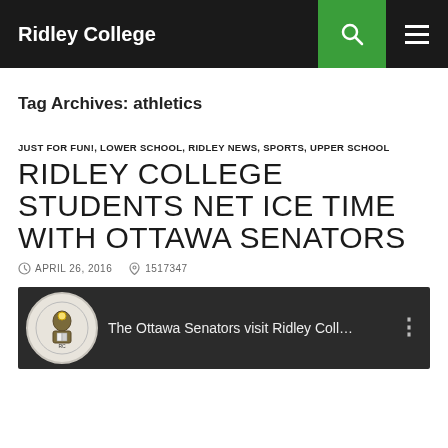Ridley College
Tag Archives: athletics
JUST FOR FUN!, LOWER SCHOOL, RIDLEY NEWS, SPORTS, UPPER SCHOOL
RIDLEY COLLEGE STUDENTS NET ICE TIME WITH OTTAWA SENATORS
APRIL 26, 2016   1517347
[Figure (screenshot): Video thumbnail showing The Ottawa Senators visit Ridley Coll... with Ridley College crest logo on dark background]